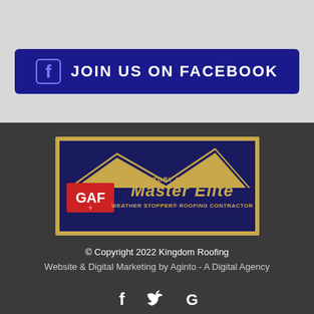[Figure (logo): Join Us on Facebook button with Facebook icon on dark blue/navy background]
[Figure (logo): GAF Factory Certified Master Elite Weather Stopper Roofing Contractor badge on dark background]
© Copyright 2022 Kingdom Roofing
Website & Digital Marketing by Aginto - A Digital Agency
[Figure (illustration): Social media icons: Facebook, Twitter, and a third icon (possibly Google+/Houzz)]